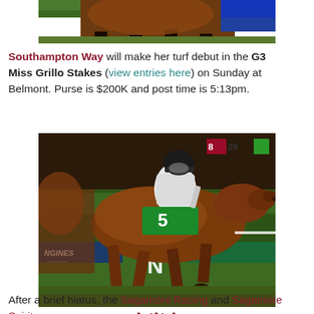[Figure (photo): Partial top photo of horse race, cropped showing hooves and jockey legs on turf]
Southampton Way will make her turf debut in the G3 Miss Grillo Stakes (view entries here) on Sunday at Belmont. Purse is $200K and post time is 5:13pm.
[Figure (photo): Horse racing photo: chestnut horse numbered 5 with jockey in white silks racing on turf. LONGINES and NYBETS signage visible in background. Number boards showing 8 and 29.]
[Figure (other): Three dark red diamond decorative divider symbols]
After a brief hiatus, the Sagamore Racing and Sagamore Spirit